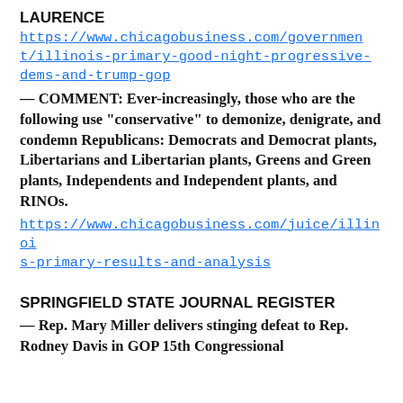LAURENCE
https://www.chicagobusiness.com/government/illinois-primary-good-night-progressive-dems-and-trump-gop
— COMMENT: Ever-increasingly, those who are the following use “conservative” to demonize, denigrate, and condemn Republicans: Democrats and Democrat plants, Libertarians and Libertarian plants, Greens and Green plants, Independents and Independent plants, and RINOs.
https://www.chicagobusiness.com/juice/illinois-primary-results-and-analysis
SPRINGFIELD STATE JOURNAL REGISTER
— Rep. Mary Miller delivers stinging defeat to Rep. Rodney Davis in GOP 15th Congressional